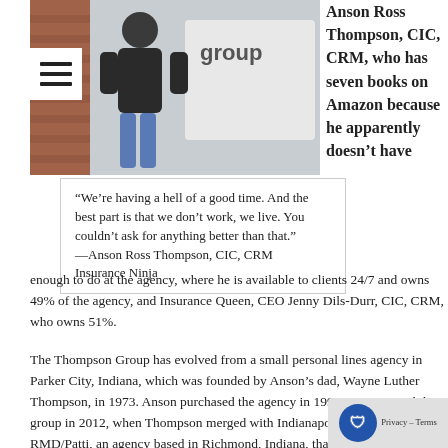[Figure (photo): Person leaning against a wall next to a sign that reads 'group'; brick wall in background.]
“We’re having a hell of a good time. And the best part is that we don’t work, we live. You couldn’t ask for anything better than that.” —Anson Ross Thompson, CIC, CRM Insurance Ninja
Anson Ross Thompson, CIC, CRM, who has seven books on Amazon because he apparently doesn’t have enough to do at the agency, where he is available to clients 24/7 and owns 49% of the agency, and Insurance Queen, CEO Jenny Dils-Durr, CIC, CRM, who owns 51%.
The Thompson Group has evolved from a small personal lines agency in Parker City, Indiana, which was founded by Anson’s dad, Wayne Luther Thompson, in 1973. Anson purchased the agency in 1996. Jenny joined the group in 2012, when Thompson merged with the Indianapolis office of RMD/Patti, an agency based in Richmond, Indiana, that was founded by her father, Jerry Joe Dils. Jenny the Indianapolis office from scratch and grew it to nearly $1 million in